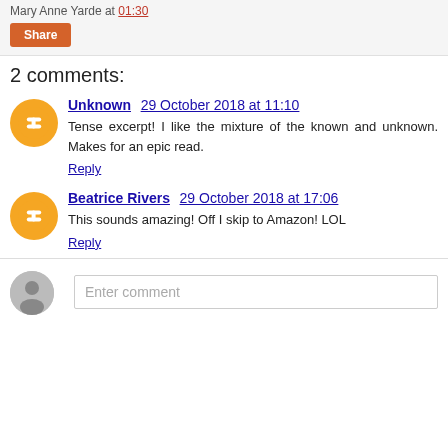Mary Anne Yarde at 01:30
Share
2 comments:
Unknown  29 October 2018 at 11:10
Tense excerpt! I like the mixture of the known and unknown. Makes for an epic read.
Reply
Beatrice Rivers  29 October 2018 at 17:06
This sounds amazing! Off I skip to Amazon! LOL
Reply
Enter comment